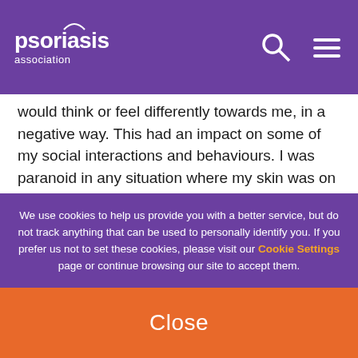psoriasis association
would think or feel differently towards me, in a negative way. This had an impact on some of my social interactions and behaviours. I was paranoid in any situation where my skin was on show, staying over at friends became a secret mission to hide my medications and body, it affected my intimate relationships, subsequently not unlocking my full potential as a human being.
The behaviours and beliefs that this gave me was that I had to find a quick fix, loading up on steroid cream daily, buying fad creams and ointments online, even
We use cookies to help us provide you with a better service, but do not track anything that can be used to personally identify you. If you prefer us not to set these cookies, please visit our Cookie Settings page or continue browsing our site to accept them.
Close